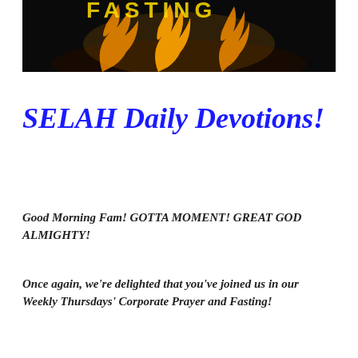[Figure (photo): Dark background image showing flames or fire with partial text visible at the top, appearing to be a devotional or religious graphic header]
SELAH Daily Devotions!
Good Morning Fam! GOTTA MOMENT! GREAT GOD ALMIGHTY!
Once again, we're delighted that you've joined us in our Weekly Thursdays' Corporate Prayer and Fasting!